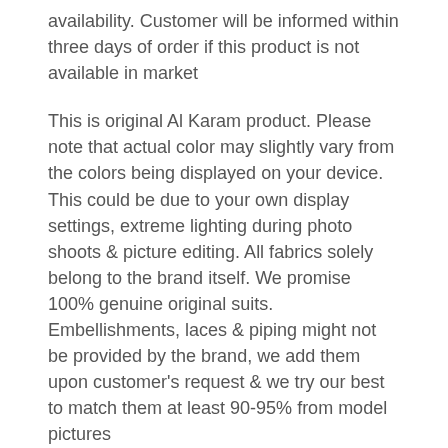availability. Customer will be informed within three days of order if this product is not available in market
This is original Al Karam product. Please note that actual color may slightly vary from the colors being displayed on your device. This could be due to your own display settings, extreme lighting during photo shoots & picture editing. All fabrics solely belong to the brand itself. We promise 100% genuine original suits. Embellishments, laces & piping might not be provided by the brand, we add them upon customer's request & we try our best to match them at least 90-95% from model pictures